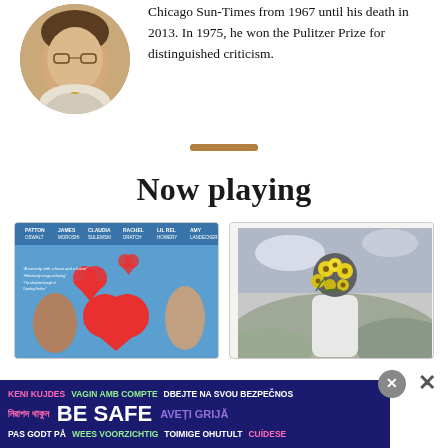[Figure (photo): Circular portrait photo of an older man in a suit with a yellow tie, slightly cropped at top]
Chicago Sun-Times from 1967 until his death in 2013. In 1975, he won the Pulitzer Prize for distinguished criticism.
Now playing
[Figure (photo): Movie poster for a romantic comedy featuring two people facing each other with red hearts, and cast names at top including Patton Oswalt, James Moroshi, Claudia Sulewski, Rachel Dratch, Lil Rel Howery, Amy Landecker]
[Figure (illustration): Surreal black and white illustration of a person with yellow flowers instead of a face, standing in a moody landscape]
KENI KUJDES VAGIN AMB COMPTE DBEJTE NA SVOU BEZPEČNOS নিরাপদ থাকুন BE SAFE AVEȚI GRIJĂ PAS GODT PÅ WEES VOORZICHTIG TOIMIGE OHUTULT CUÍDESE